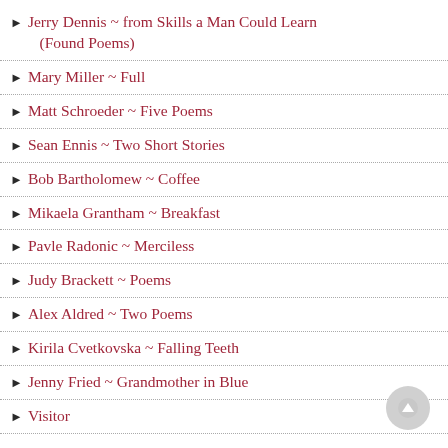Jerry Dennis ~ from Skills a Man Could Learn (Found Poems)
Mary Miller ~ Full
Matt Schroeder ~ Five Poems
Sean Ennis ~ Two Short Stories
Bob Bartholomew ~ Coffee
Mikaela Grantham ~ Breakfast
Pavle Radonic ~ Merciless
Judy Brackett ~ Poems
Alex Aldred ~ Two Poems
Kirila Cvetkovska ~ Falling Teeth
Jenny Fried ~ Grandmother in Blue
Visitor